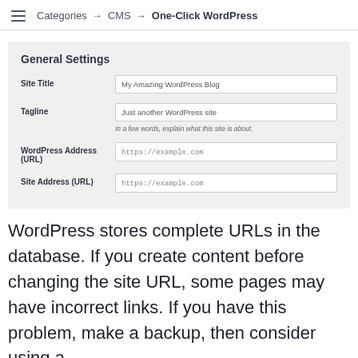Categories → CMS → One-Click WordPress
[Figure (screenshot): WordPress General Settings form showing fields: Site Title (My Amazing WordPress Blog), Tagline (Just another WordPress site), WordPress Address (URL) (https://example.com), Site Address (URL) (https://example.com)]
WordPress stores complete URLs in the database. If you create content before changing the site URL, some pages may have incorrect links. If you have this problem, make a backup, then consider using a